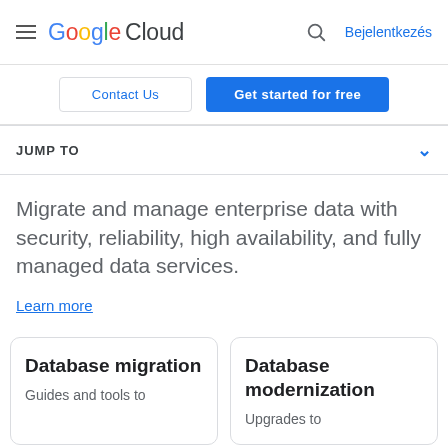Google Cloud — Bejelentkezés
Contact Us | Get started for free
JUMP TO
Migrate and manage enterprise data with security, reliability, high availability, and fully managed data services.
Learn more
Database migration
Guides and tools to
Database modernization
Upgrades to